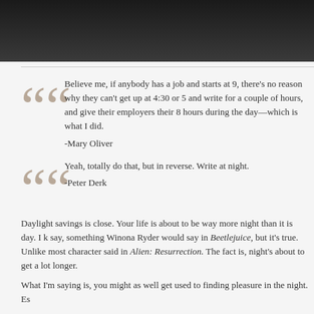[Figure (photo): Dark nighttime sky or clouds, moody dark image strip at top of page]
Believe me, if anybody has a job and starts at 9, there's no reason why they can't get up at 4:30 or 5 and write for a couple of hours, and give their employers their 8 hours during the day—which is what I did.
-Mary Oliver
Yeah, totally do that, but in reverse. Write at night.
-Peter Derk
Daylight savings is close. Your life is about to be way more night than it is day. I know, that sounds like something Winona Ryder would say in Beetlejuice, but it's true. Unlike most people, this is what her character said in Alien: Resurrection. The fact is, night's about to get a lot longer.
What I'm saying is, you might as well get used to finding pleasure in the night. Es
What are the pleasures of writing at night? Glad you asked.